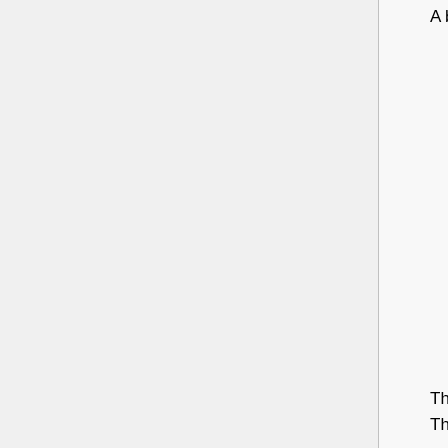A blogger comments [17]:
It's actually pretty easy to predict who will get into the Hall of Fame with just about any statistical method: 90% of the candidates are an easy decision. The single biggest factor is longevity and/or high totals. Even something unexciting and even uninformative - like at-bats for hitters - will be highly accurate as a predictor because you can't get a lot of them without getting a lot of everything else.
The blogger also cites David R. Tufte and John Topoleski's article, "Are There